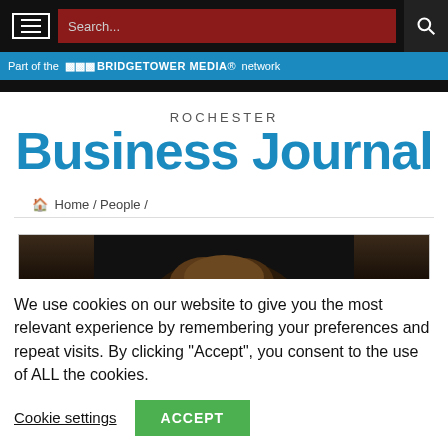Part of the BridgeTower Media network
[Figure (logo): Rochester Business Journal logo in blue text]
Home / People /
[Figure (photo): Partial photo of a person, dark background, top of head visible]
We use cookies on our website to give you the most relevant experience by remembering your preferences and repeat visits. By clicking “Accept”, you consent to the use of ALL the cookies.
Cookie settings
ACCEPT